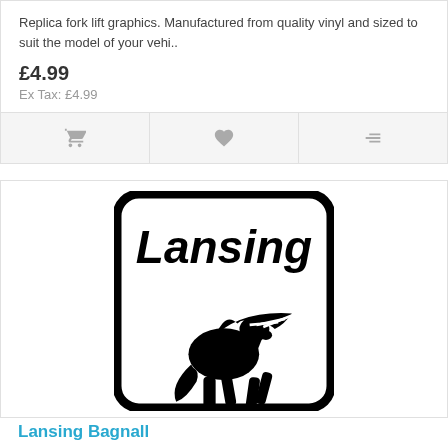Replica fork lift graphics. Manufactured from quality vinyl and sized to suit the model of your vehi..
£4.99
Ex Tax: £4.99
[Figure (logo): Lansing Bagnall logo: white square with rounded corners and black border, italic bold 'Lansing' text at top, and a black silhouette of a winged horse (Pegasus) below]
Lansing Bagnall
Replica fork lift graphics. Manufactured from quality vinyl and sized to